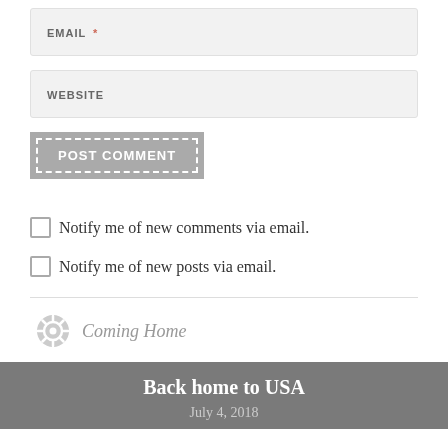EMAIL *
WEBSITE
POST COMMENT
Notify me of new comments via email.
Notify me of new posts via email.
Coming Home
Back home to USA
July 4, 2018